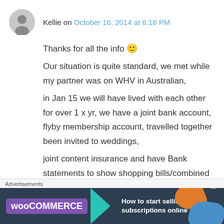Kellie on October 16, 2014 at 6:18 PM
Thanks for all the info 🙂
Our situation is quite standard, we met while my partner was on WHV in Australian,
in Jan 15 we will have lived with each other for over 1 x yr, we have a joint bank account, flyby membership account, travelled together been invited to weddings,
joint content insurance and have Bank statements to show shopping bills/combined purchases on payments, I however have my own property so my partner pays towards the
[Figure (screenshot): WooCommerce advertisement banner — 'How to start selling subscriptions online']